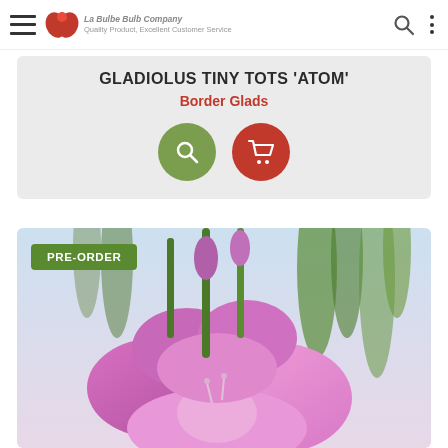Navigation bar with hamburger menu, logo (La Bulbe Bulb Company – Quality Product, Excellent Customer Service), search icon, and more options icon
GLADIOLUS TINY TOTS 'ATOM'
Border Glads
[Figure (illustration): Two circular icon buttons: a green circle with a white magnifying glass search icon, and a red circle with a white shopping cart icon]
[Figure (photo): Close-up photograph of pink/purple gladiolus flowers (Gladiolus Tiny Tots 'Atom') with green stems and leaves. A green 'PRE-ORDER' badge is overlaid in the upper left corner of the image.]